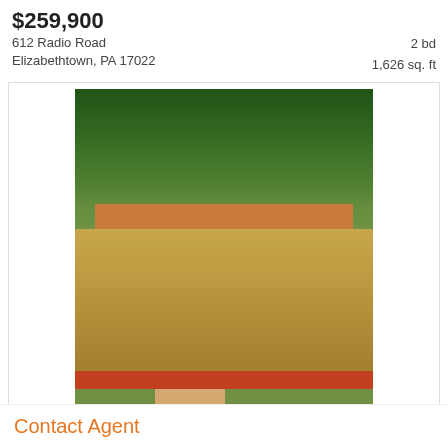$259,900
612 Radio Road
Elizabethtown, PA 17022
2 bd
1,626 sq. ft
[Figure (photo): Exterior photo of a house at 612 Radio Road, Elizabethtown PA, showing a yellow/tan ranch-style home with a covered porch, red accent trim, front steps, surrounded by tall trees and green foliage. Bright MLS watermark visible bottom left.]
Courtesy: Rohrbach Real Estate Co.
GET ALERTS
Next
Elizabethtown Real Estate
Contact Agent